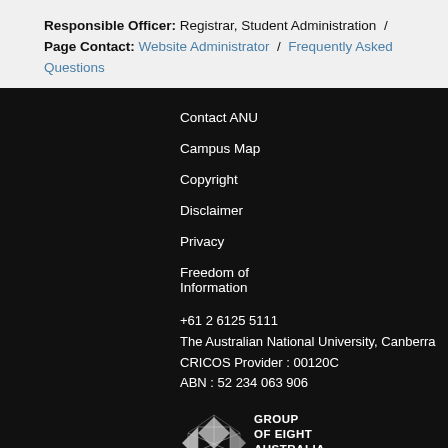Responsible Officer: Registrar, Student Administration / Page Contact: Website Administrator / Frequently Asked Questions
Contact ANU
Campus Map
Copyright
Disclaimer
Privacy
Freedom of Information
+61 2 6125 5111
The Australian National University, Canberra
CRICOS Provider : 00120C
ABN : 52 234 063 906
[Figure (logo): Group of Eight Australia Member logo]